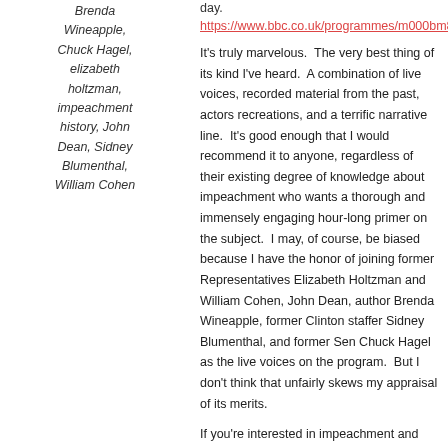Brenda Wineapple, Chuck Hagel, elizabeth holtzman, impeachment history, John Dean, Sidney Blumenthal, William Cohen
day. https://www.bbc.co.uk/programmes/m000bm83
It's truly marvelous. The very best thing of its kind I've heard. A combination of live voices, recorded material from the past, actors recreations, and a terrific narrative line. It's good enough that I would recommend it to anyone, regardless of their existing degree of knowledge about impeachment who wants a thorough and immensely engaging hour-long primer on the subject. I may, of course, be biased because I have the honor of joining former Representatives Elizabeth Holtzman and William Cohen, John Dean, author Brenda Wineapple, former Clinton staffer Sidney Blumenthal, and former Sen Chuck Hagel as the live voices on the program. But I don't think that unfairly skews my appraisal of its merits.
If you're interested in impeachment and have about 50 minutes to listen, you really should.